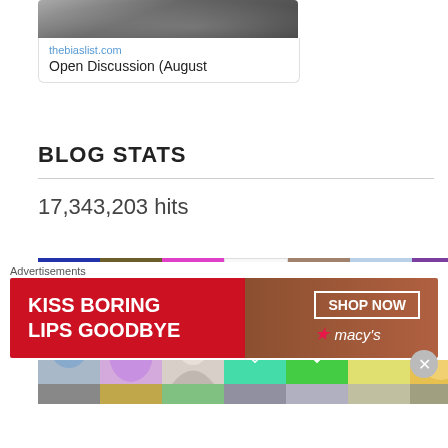[Figure (screenshot): Preview card showing thebiaslist.com link with dark blurred image at top and text 'Open Discussion (August' below]
BLOG STATS
17,343,203 hits
[Figure (photo): Grid of user avatar thumbnails in two rows, showing various patterned and photo avatars]
Advertisements
[Figure (photo): Macy's advertisement banner: KISS BORING LIPS GOODBYE with SHOP NOW button and macy's logo]